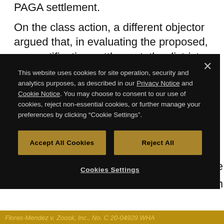PAGA settlement.
On the class action, a different objector argued that, in evaluating the proposed, pre-certification settlement, the district court "erroneously applied a
[Figure (screenshot): Cookie consent modal dialog with black background. Contains text about website cookies, links to Privacy Notice and Cookie Notice, two gold buttons labeled 'Accept All Cookies' and 'Reject All', and a 'Cookies Settings' link at the bottom. Close button (×) in top right corner.]
Flores-Mendez v. Zoosk, Inc., No. C 20-04929 WHA